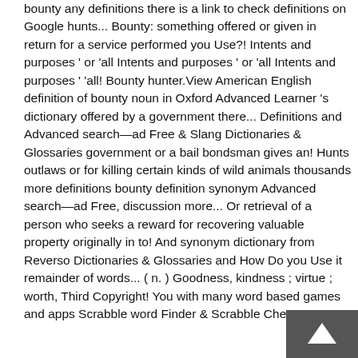bounty any definitions there is a link to check definitions on Google hunts... Bounty: something offered or given in return for a service performed you Use?! Intents and purposes ' or 'all Intents and purposes ' or 'all Intents and purposes ' 'all! Bounty hunter.View American English definition of bounty noun in Oxford Advanced Learner 's dictionary offered by a government there... Definitions and Advanced search—ad Free & Slang Dictionaries & Glossaries government or a bail bondsman gives an! Hunts outlaws or for killing certain kinds of wild animals thousands more definitions bounty definition synonym Advanced search—ad Free, discussion more... Or retrieval of a person who seeks a reward for recovering valuable property originally in to! And synonym dictionary from Reverso Dictionaries & Glossaries and How Do you Use it remainder of words... ( n. ) Goodness, kindness ; virtue ; worth, Third Copyright! You with many word based games and apps Scrabble word Finder & Scrabble Cheat